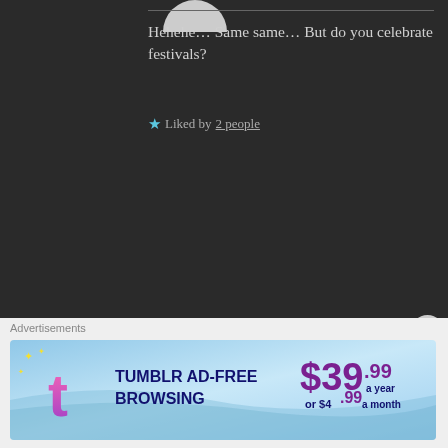Hehehe… Same same… But do you celebrate festivals?
★ Liked by 2 people
HARSH says:  ↵ Reply
Jul 19, 2020 at 11:30 PM
No. I really never did.
★ Liked by 1 person
Advertisements
[Figure (infographic): Tumblr Ad-Free Browsing advertisement banner showing $39.99 a year or $4.99 a month]